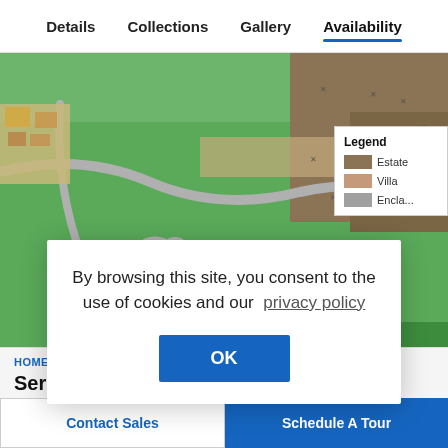Details   Collections   Gallery   Availability
[Figure (map): Aerial/illustrated map showing green fields, brown estate plots, grey winding roads, and a small village cluster in the top-left. A legend box in the lower-right lists Estate (brown), Villa (tan), and Enclave (grey).]
HOME S...
Seren...
• 7  Av...   ...es
By browsing this site, you consent to the use of cookies and our  privacy policy
OK
Contact Sales
Schedule A Tour